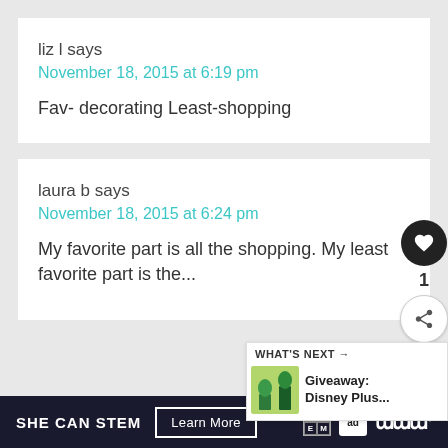liz l says
November 18, 2015 at 6:19 pm
Fav- decorating Least-shopping
laura b says
November 18, 2015 at 6:24 pm
My favorite part is all the shopping. My least favorite part is the...
SHE CAN STEM  Learn More